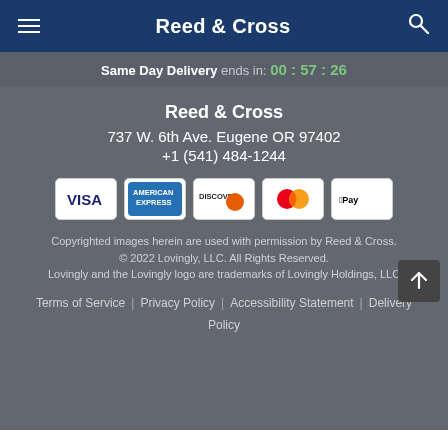Reed & Cross
Same Day Delivery ends in: 00 : 57 : 26
Reed & Cross
737 W. 6th Ave. Eugene OR 97402
+1 (541) 484-1244
[Figure (logo): Payment method icons: Visa, American Express, Discover, Mastercard, Apple Pay]
Copyrighted images herein are used with permission by Reed & Cross.
© 2022 Lovingly, LLC. All Rights Reserved.
Lovingly and the Lovingly logo are trademarks of Lovingly Holdings, LLC
Terms of Service | Privacy Policy | Accessibility Statement | Delivery Policy